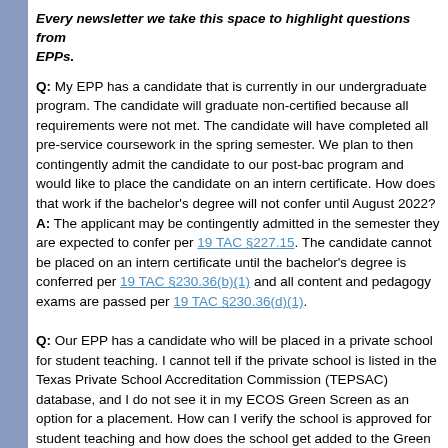Every newsletter we take this space to highlight questions from EPPs.
Q: My EPP has a candidate that is currently in our undergraduate program. The candidate will graduate non-certified because all requirements were not met. The candidate will have completed all pre-service coursework in the spring semester. We plan to then contingently admit the candidate to our post-bac program and would like to place the candidate on an intern certificate. How does that work if the bachelor's degree will not confer until August 2022? A: The applicant may be contingently admitted in the semester they are expected to confer per 19 TAC §227.15. The candidate cannot be placed on an intern certificate until the bachelor's degree is conferred per 19 TAC §230.36(b)(1) and all content and pedagogy exams are passed per 19 TAC §230.36(d)(1).
Q: Our EPP has a candidate who will be placed in a private school for student teaching. I cannot tell if the private school is listed in the Texas Private School Accreditation Commission (TEPSAC) database, and I do not see it in my ECOS Green Screen as an option for a placement. How can I verify the school is approved for student teaching and how does the school get added to the Green Screen so I can make the assignment? A: The EPP can check the TEPSAC website and "Search Schools" to verify if a particular school is accredited. When you find the school, you should be able to retrieve the county-district number (CDN), and can even go to the website to verify it is the appropriate school for the clinical teaching/internship assignment.